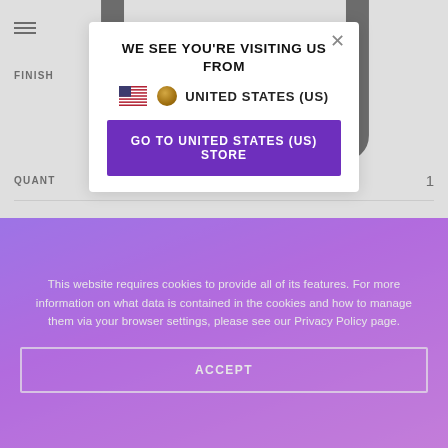WE SEE YOU'RE VISITING US FROM UNITED STATES (US)
FINISH
GO TO UNITED STATES (US) STORE
QUANTITY 1
This website requires cookies to provide all of its features. For more information on what data is contained in the cookies and how to manage them via your browser settings, please see our Privacy Policy page.
ACCEPT